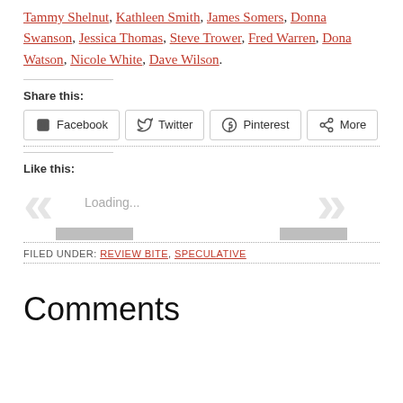Tammy Shelnut, Kathleen Smith, James Somers, Donna Swanson, Jessica Thomas, Steve Trower, Fred Warren, Dona Watson, Nicole White, Dave Wilson.
Share this:
[Figure (other): Social share buttons: Facebook, Twitter, Pinterest, More]
Like this:
[Figure (other): Like widget loading area with left and right chevron navigation arrows and loading text]
FILED UNDER: REVIEW BITE, SPECULATIVE
Comments